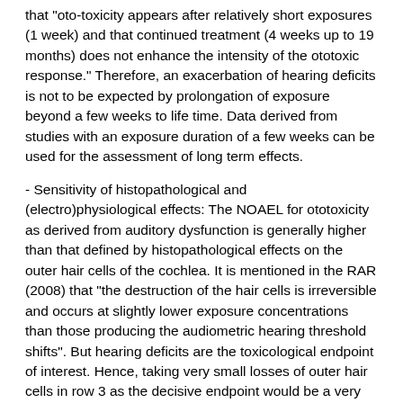that "oto-toxicity appears after relatively short exposures (1 week) and that continued treatment (4 weeks up to 19 months) does not enhance the intensity of the ototoxic response." Therefore, an exacerbation of hearing deficits is not to be expected by prolongation of exposure beyond a few weeks to life time. Data derived from studies with an exposure duration of a few weeks can be used for the assessment of long term effects.
- Sensitivity of histopathological and (electro)physiological effects: The NOAEL for ototoxicity as derived from auditory dysfunction is generally higher than that defined by histopathological effects on the outer hair cells of the cochlea. It is mentioned in the RAR (2008) that "the destruction of the hair cells is irreversible and occurs at slightly lower exposure concentrations than those producing the audiometric hearing threshold shifts". But hearing deficits are the toxicological endpoint of interest. Hence, taking very small losses of outer hair cells in row 3 as the decisive endpoint would be a very conservative approach for risk assessment based